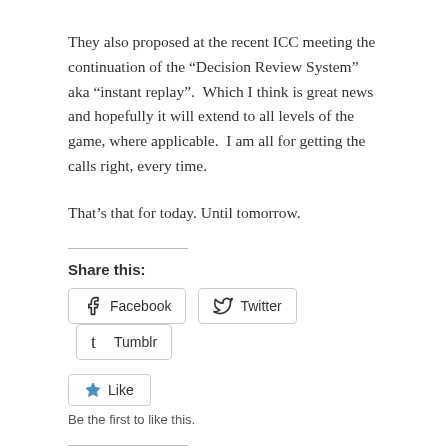They also proposed at the recent ICC meeting the continuation of the “Decision Review System” aka “instant replay”.  Which I think is great news and hopefully it will extend to all levels of the game, where applicable.  I am all for getting the calls right, every time.
That’s that for today. Until tomorrow.
Share this:
Facebook  Twitter  Tumblr
Like
Be the first to like this.
Related
Rajasthan v Rest of India
ICC Combined Associate